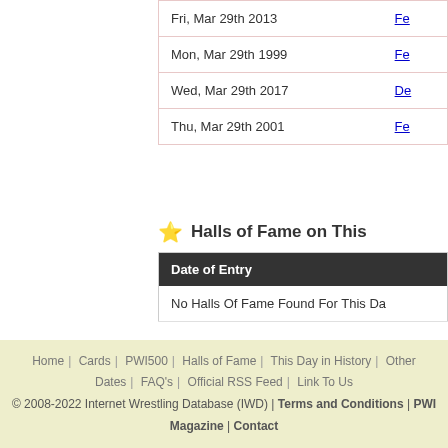| Date | Event |
| --- | --- |
| Fri, Mar 29th 2013 | Fe... |
| Mon, Mar 29th 1999 | Fe... |
| Wed, Mar 29th 2017 | De... |
| Thu, Mar 29th 2001 | Fe... |
Halls of Fame on This...
| Date of Entry |
| --- |
| No Halls Of Fame Found For This Da... |
Home | Cards | PWI500 | Halls of Fame | This Day in History | Other Dates | FAQ's | Official RSS Feed | Link To Us © 2008-2022 Internet Wrestling Database (IWD) | Terms and Conditions | PWI Magazine | Contact